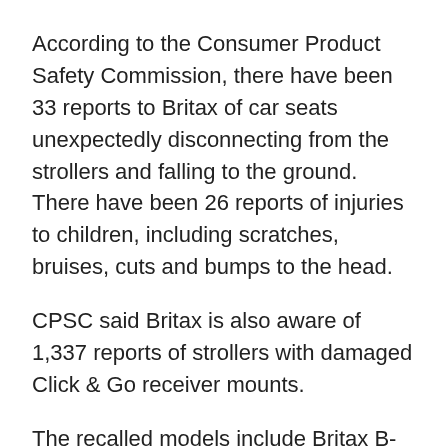According to the Consumer Product Safety Commission, there have been 33 reports to Britax of car seats unexpectedly disconnecting from the strollers and falling to the ground. There have been 26 reports of injuries to children, including scratches, bruises, cuts and bumps to the head.
CPSC said Britax is also aware of 1,337 reports of strollers with damaged Click & Go receiver mounts.
The recalled models include Britax B-Agile and BOB Motion Strollers with Click & Go receivers - used as a travel system with a car seat carrier attached.
The recalled models are folding, single or double occupant strollers and have Click & Go receiver mounts that attach the car seat carrier to the stroller frame. All